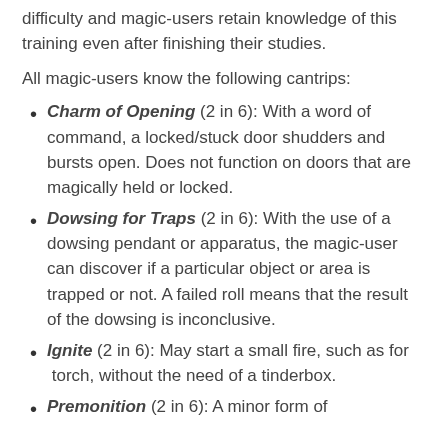difficulty and magic-users retain knowledge of this training even after finishing their studies.
All magic-users know the following cantrips:
Charm of Opening (2 in 6): With a word of command, a locked/stuck door shudders and bursts open. Does not function on doors that are magically held or locked.
Dowsing for Traps (2 in 6): With the use of a dowsing pendant or apparatus, the magic-user can discover if a particular object or area is trapped or not. A failed roll means that the result of the dowsing is inconclusive.
Ignite (2 in 6): May start a small fire, such as for torch, without the need of a tinderbox.
Premonition (2 in 6): A minor form of